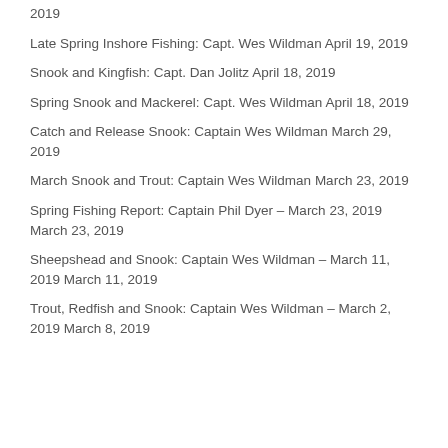2019
Late Spring Inshore Fishing: Capt. Wes Wildman April 19, 2019
Snook and Kingfish: Capt. Dan Jolitz April 18, 2019
Spring Snook and Mackerel: Capt. Wes Wildman April 18, 2019
Catch and Release Snook: Captain Wes Wildman March 29, 2019
March Snook and Trout: Captain Wes Wildman March 23, 2019
Spring Fishing Report: Captain Phil Dyer – March 23, 2019 March 23, 2019
Sheepshead and Snook: Captain Wes Wildman – March 11, 2019 March 11, 2019
Trout, Redfish and Snook: Captain Wes Wildman – March 2, 2019 March 8, 2019